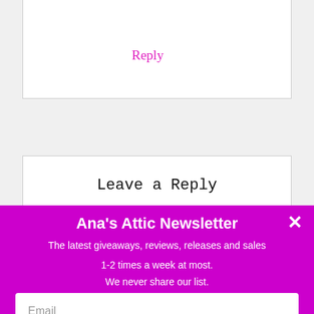Reply
Leave a Reply
Your email address will not be published. Required fields are marked *
Ana's Attic Newsletter
The latest giveaways, reviews, releases and sales
1-2 times a week at most.
We never share our list.
Email
SUBSCRIBE